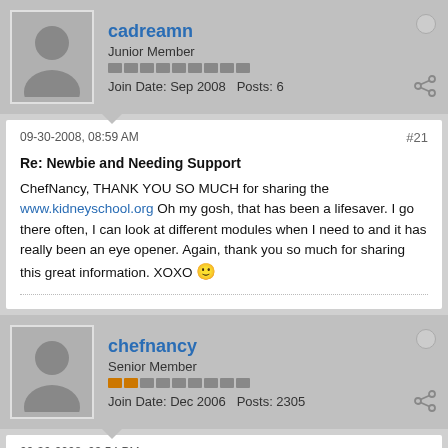cadreamn
Junior Member
Join Date: Sep 2008   Posts: 6
09-30-2008, 08:59 AM
#21
Re: Newbie and Needing Support
ChefNancy, THANK YOU SO MUCH for sharing the www.kidneyschool.org Oh my gosh, that has been a lifesaver. I go there often, I can look at different modules when I need to and it has really been an eye opener. Again, thank you so much for sharing this great information. XOXO 🙂
chefnancy
Senior Member
Join Date: Dec 2006   Posts: 2305
09-30-2008, 03:54 PM
#22
Re: Newbie and Needing Support